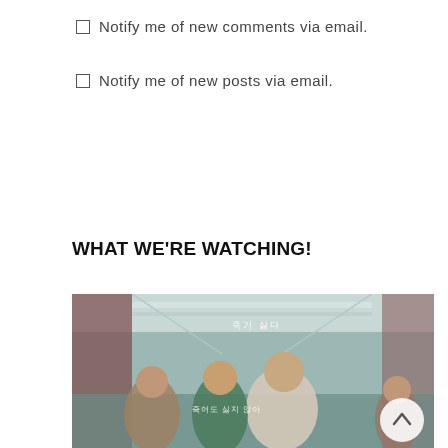Notify me of new comments via email.
Notify me of new posts via email.
WHAT WE'RE WATCHING!
[Figure (photo): Scene from a Korean drama/movie showing people running in a school hallway. Korean text subtitles visible. A man in school uniform with a bloody shirt and tie runs in the center, a woman in green cardigan beside him, others screaming in background. A circular scroll-to-top button overlaid at bottom right.]